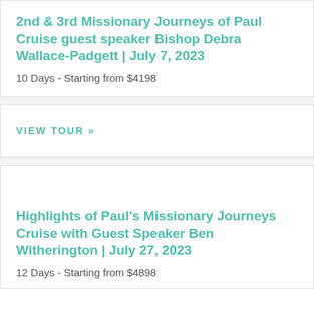2nd & 3rd Missionary Journeys of Paul Cruise guest speaker Bishop Debra Wallace-Padgett | July 7, 2023
10 Days - Starting from $4198
VIEW TOUR »
Highlights of Paul's Missionary Journeys Cruise with Guest Speaker Ben Witherington | July 27, 2023
12 Days - Starting from $4898